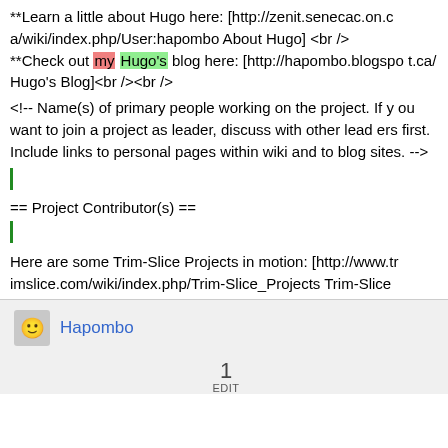**Learn a little about Hugo here: [http://zenit.senecac.on.ca/wiki/index.php/User:hapombo About Hugo] <br />
**Check out my Hugo's blog here: [http://hapombo.blogspot.ca/ Hugo's Blog]<br /><br />
<!-- Name(s) of primary people working on the project. If you want to join a project as leader, discuss with other leaders first. Include links to personal pages within wiki and to blog sites. -->
== Project Contributor(s) ==
Here are some Trim-Slice Projects in motion: [http://www.trimslice.com/wiki/index.php/Trim-Slice_Projects Trim-Slice
Hapombo
1
EDIT